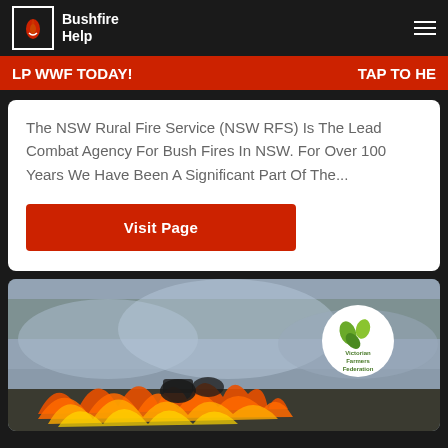Bushfire Help
LP WWF TODAY! TAP TO HELP
The NSW Rural Fire Service (NSW RFS) Is The Lead Combat Agency For Bush Fires In NSW. For Over 100 Years We Have Been A Significant Part Of The...
Visit Page
[Figure (photo): Firefighters on quad bikes with large flames and smoke in a field, Victorian Farmers Federation logo overlay]